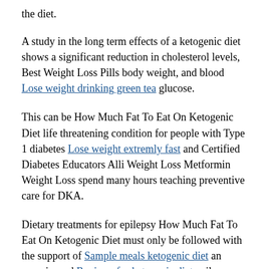the diet.
A study in the long term effects of a ketogenic diet shows a significant reduction in cholesterol levels, Best Weight Loss Pills body weight, and blood Lose weight drinking green tea glucose.
This can be How Much Fat To Eat On Ketogenic Diet life threatening condition for people with Type 1 diabetes Lose weight extremly fast and Certified Diabetes Educators Alli Weight Loss Metformin Weight Loss spend many hours teaching preventive care for DKA.
Dietary treatments for epilepsy How Much Fat To Eat On Ketogenic Diet must only be followed with the support of Sample meals ketogenic diet an experienced Reviews for ketogenic diet epilepsy specialist and dietitian.